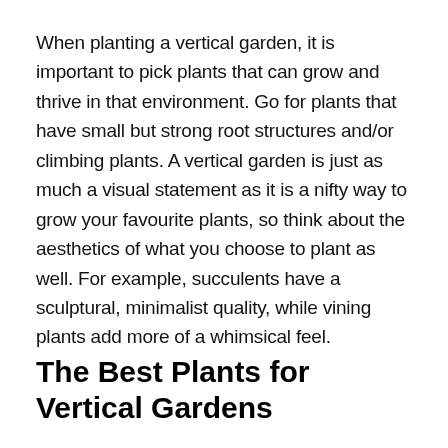When planting a vertical garden, it is important to pick plants that can grow and thrive in that environment. Go for plants that have small but strong root structures and/or climbing plants. A vertical garden is just as much a visual statement as it is a nifty way to grow your favourite plants, so think about the aesthetics of what you choose to plant as well. For example, succulents have a sculptural, minimalist quality, while vining plants add more of a whimsical feel.
The Best Plants for Vertical Gardens